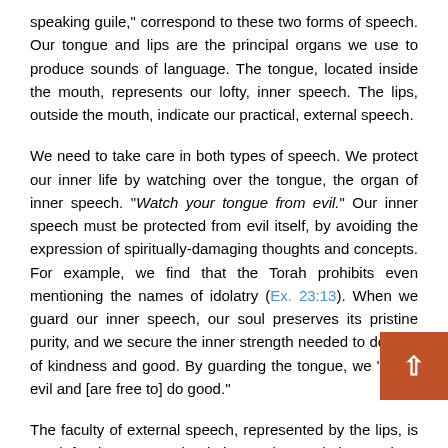speaking guile," correspond to these two forms of speech. Our tongue and lips are the principal organs we use to produce sounds of language. The tongue, located inside the mouth, represents our lofty, inner speech. The lips, outside the mouth, indicate our practical, external speech.
We need to take care in both types of speech. We protect our inner life by watching over the tongue, the organ of inner speech. "Watch your tongue from evil." Our inner speech must be protected from evil itself, by avoiding the expression of spiritually-damaging thoughts and concepts. For example, we find that the Torah prohibits even mentioning the names of idolatry (Ex. 23:13). When we guard our inner speech, our soul preserves its pristine purity, and we secure the inner strength needed to do acts of kindness and good. By guarding the tongue, we "avoid evil and [are free to] do good."
The faculty of external speech, represented by the lips, is used for interpersonal relations. The psalmist cautions that we should guard our "lips from speaking guile." If we do not properly supervise what comes out of our mouths, our social interactions will be suffused by guile and deception. But when we are careful with our